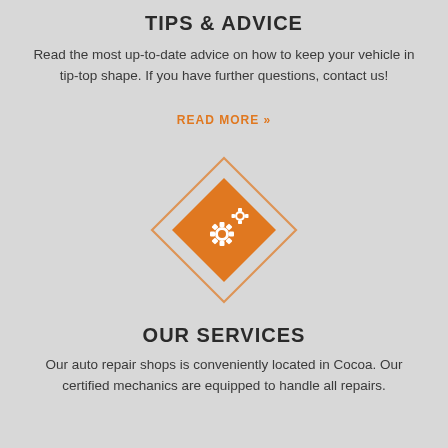TIPS & ADVICE
Read the most up-to-date advice on how to keep your vehicle in tip-top shape. If you have further questions, contact us!
READ MORE »
[Figure (illustration): Orange diamond shape with a white gear/cogs icon inside, outlined by a larger light orange diamond border]
OUR SERVICES
Our auto repair shops is conveniently located in Cocoa. Our certified mechanics are equipped to handle all repairs.